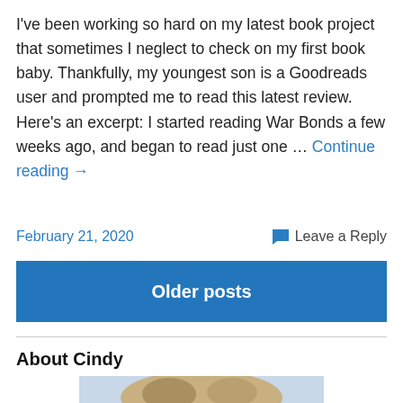I've been working so hard on my latest book project that sometimes I neglect to check on my first book baby. Thankfully, my youngest son is a Goodreads user and prompted me to read this latest review. Here's an excerpt: I started reading War Bonds a few weeks ago, and began to read just one … Continue reading →
February 21, 2020   Leave a Reply
Older posts
About Cindy
[Figure (photo): A photo of a woman (Cindy) with highlighted hair, partially visible, cropped at the bottom of the page.]